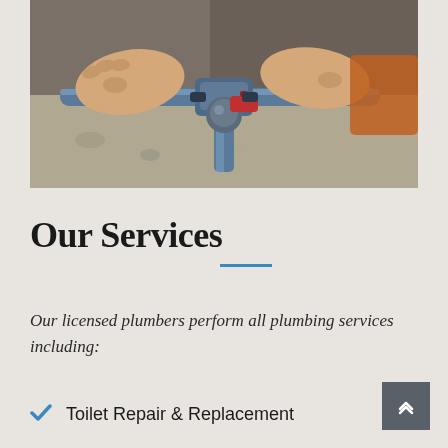[Figure (photo): Close-up photo of a plumber's hands connecting blue PVC pipes with a T-junction fitting and red valve, against a concrete wall background.]
Our Services
Our licensed plumbers perform all plumbing services including:
Toilet Repair & Replacement